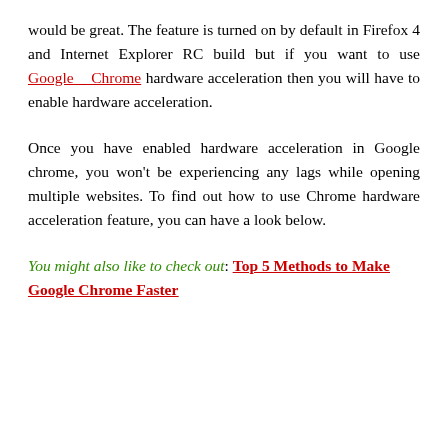would be great. The feature is turned on by default in Firefox 4 and Internet Explorer RC build but if you want to use Google Chrome hardware acceleration then you will have to enable hardware acceleration.
Once you have enabled hardware acceleration in Google chrome, you won't be experiencing any lags while opening multiple websites. To find out how to use Chrome hardware acceleration feature, you can have a look below.
You might also like to check out: Top 5 Methods to Make Google Chrome Faster